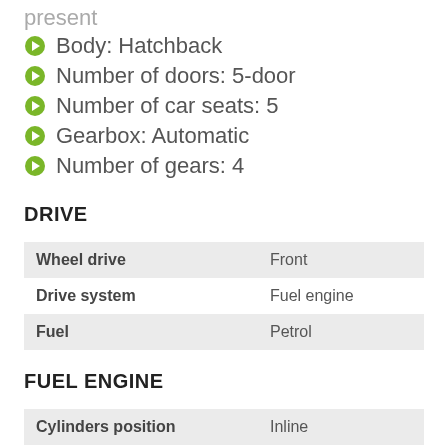present
Body: Hatchback
Number of doors: 5-door
Number of car seats: 5
Gearbox: Automatic
Number of gears: 4
DRIVE
|  |  |
| --- | --- |
| Wheel drive | Front |
| Drive system | Fuel engine |
| Fuel | Petrol |
FUEL ENGINE
|  |  |
| --- | --- |
| Cylinders position | Inline |
| Number of cylinders | 4 |
| Valves per cylinder | 4 |
| Engine capacity | 1594 |
| Bore x stroke | 78.0 x 87.4 mm |